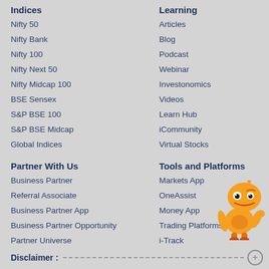Indices
Nifty 50
Nifty Bank
Nifty 100
Nifty Next 50
Nifty Midcap 100
BSE Sensex
S&P BSE 100
S&P BSE Midcap
Global Indices
Learning
Articles
Blog
Podcast
Webinar
Investonomics
Videos
Learn Hub
iCommunity
Virtual Stocks
Partner With Us
Business Partner
Referral Associate
Business Partner App
Business Partner Opportunity
Partner Universe
Tools and Platforms
Markets App
OneAssist
Money App
Trading Platforms
i-Track
[Figure (illustration): Orange robot mascot character with antenna, winking, pointing gesture]
Disclaimer :